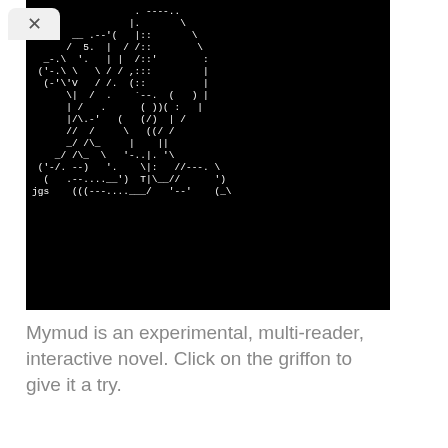[Figure (illustration): ASCII art of a griffon (mythical creature) made of white characters on a black background, signed 'jgs' in the lower left corner.]
Mymud is an experimental, multi-reader, interactive novel. Click on the griffon to give it a try.